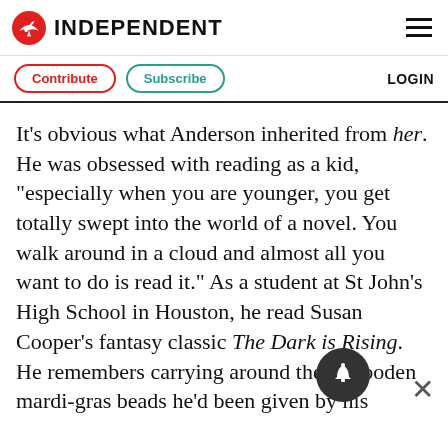INDEPENDENT
Contribute  Subscribe  LOGIN
It's obvious what Anderson inherited from her. He was obsessed with reading as a kid, "especially when you are younger, you get totally swept into the world of a novel. You walk around in a cloud and almost all you want to do is read it." As a student at St John's High School in Houston, he read Susan Cooper's fantasy classic The Dark is Rising. He remembers carrying around these wooden mardi-gras beads he'd been given by his